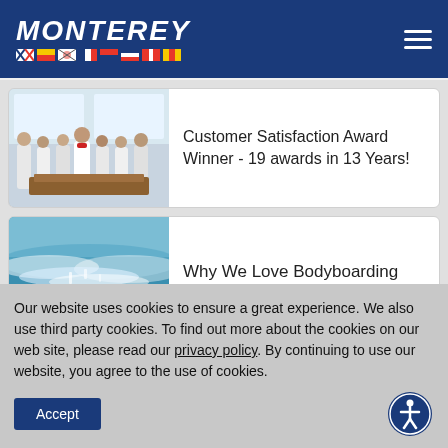MONTEREY
[Figure (photo): Group of people in white clothing at what appears to be a boat show or event, indoors with large windows]
Customer Satisfaction Award Winner - 19 awards in 13 Years!
[Figure (photo): Person bodyboarding in ocean waves near a boat]
Why We Love Bodyboarding
Our website uses cookies to ensure a great experience. We also use third party cookies. To find out more about the cookies on our web site, please read our privacy policy. By continuing to use our website, you agree to the use of cookies.